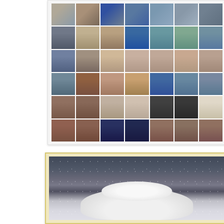[Figure (photo): A collage of polaroid-style photographs arranged in a 7x6 grid, showing cropped views of people seated — their clothing (striped shirts, shorts), knees, legs, feet, and shoes, along with wooden floor details. The images progress from upper body clothing details at the top to feet and floor at the bottom.]
[Figure (photo): A black and white photograph with a yellowish/gold border showing a white fluffy dog (appears to be a white Labrador or similar breed) photographed in rain or wet conditions. The background is dark and moody with rain visible. The dog appears to be looking downward.]